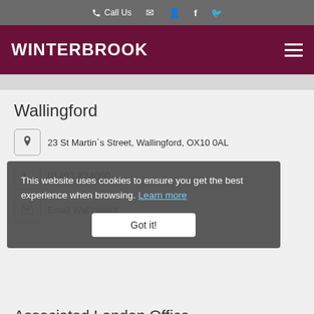Call Us | [email icon] | [user icon] | f | [twitter icon]
WINTERBROOK
Wallingford
23 St Martin's Street, Wallingford, OX10 0AL
01491 824000
Email Wallingford
This website uses cookies to ensure you get the best experience when browsing. Learn more
Got it!
Associated London Office
101 Park Lane, Mayfair, London, W1K 7AG